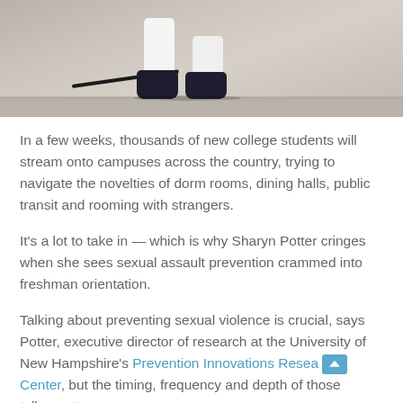[Figure (photo): Photo showing the lower legs and feet of a person sitting on the floor against a wall, wearing white pants and dark socks, with a cable visible nearby.]
In a few weeks, thousands of new college students will stream onto campuses across the country, trying to navigate the novelties of dorm rooms, dining halls, public transit and rooming with strangers.
It's a lot to take in — which is why Sharyn Potter cringes when she sees sexual assault prevention crammed into freshman orientation.
Talking about preventing sexual violence is crucial, says Potter, executive director of research at the University of New Hampshire's Prevention Innovations Research Center, but the timing, frequency and depth of those talks matter.